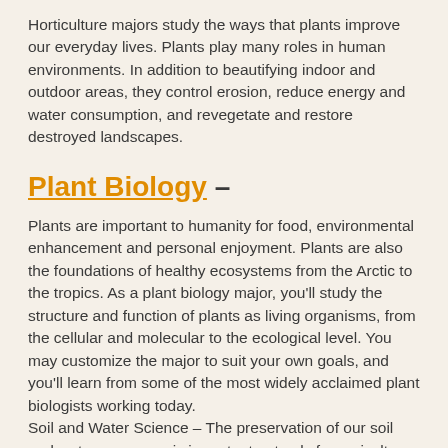Horticulture majors study the ways that plants improve our everyday lives. Plants play many roles in human environments. In addition to beautifying indoor and outdoor areas, they control erosion, reduce energy and water consumption, and revegetate and restore destroyed landscapes.
Plant Biology –
Plants are important to humanity for food, environmental enhancement and personal enjoyment. Plants are also the foundations of healthy ecosystems from the Arctic to the tropics. As a plant biology major, you'll study the structure and function of plants as living organisms, from the cellular and molecular to the ecological level. You may customize the major to suit your own goals, and you'll learn from some of the most widely acclaimed plant biologists working today.
Soil and Water Science – The preservation of our soil and water resources is important not only for agriculture, but for a range of other reasons affecting human and environmental health. Soil and water science majors study the different classifications of soil and the appropriate human uses of each; the origins and